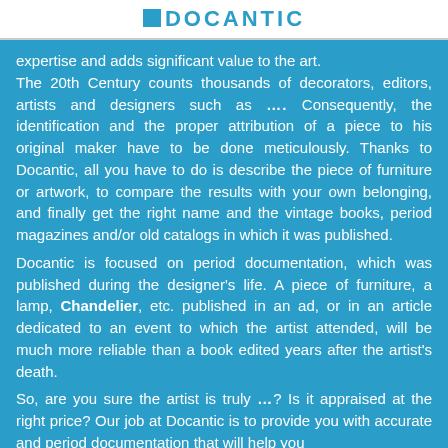DOCANTIC
expertise and adds significant value to the art. The 20th Century counts thousands of decorators, editors, artists and designers such as .... Consequently, the identification and the proper attribution of a piece to his original maker have to be done meticulously. Thanks to Docantic, all you have to do is describe the piece of furniture or artwork, to compare the results with your own belonging, and finally get the right name and the vintage books, period magazines and/or old catalogs in which it was published.
Docantic is focused on period documentation, which was published during the designer's life. A piece of furniture, a lamp, Chandelier, etc. published in an ad, or in an article dedicated to an event to which the artist attended, will be much more reliable than a book edited years after the artist's death.
So, are you sure the artist is truly ...? Is it appraised at the right price? Our job at Docantic is to provide you with accurate and period documentation that will help you